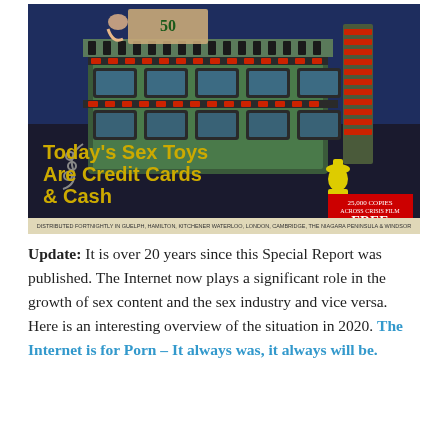[Figure (illustration): Vintage-style illustrated magazine cover showing a mechanical/industrial machine with film reels, television screens, and figures. Bold yellow text reads 'Today's Sex Toys Are Credit Cards & Cash'. Small text at bottom reads 'DISTRIBUTED FORTNIGHTLY IN GUELPH, HAMILTON, KITCHENER WATERLOO, LONDON, CAMBRIDGE, THE NIAGARA PENINSULA & WINDSOR'. Red banner with '25,000 COPIES' and 'FREE'. A figure in a yellow jacket holds money. Number '50' visible on a bill. Blue and dark background.]
Update: It is over 20 years since this Special Report was published. The Internet now plays a significant role in the growth of sex content and the sex industry and vice versa. Here is an interesting overview of the situation in 2020. The Internet is for Porn – It always was, it always will be.